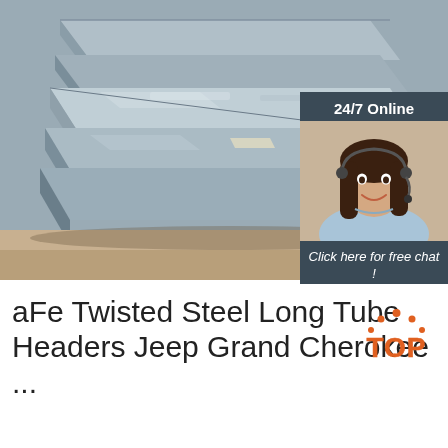[Figure (photo): Stacked steel flat plates/sheets in a warehouse or industrial setting, metallic grey color with rust and markings visible]
[Figure (infographic): 24/7 Online chat widget with a female customer service representative wearing a headset, dark grey background, 'Click here for free chat!' text and orange QUOTATION button]
aFe Twisted Steel Long Tube Headers Jeep Grand Cherokee ...
[Figure (logo): TOP logo with orange dotted arc above text]